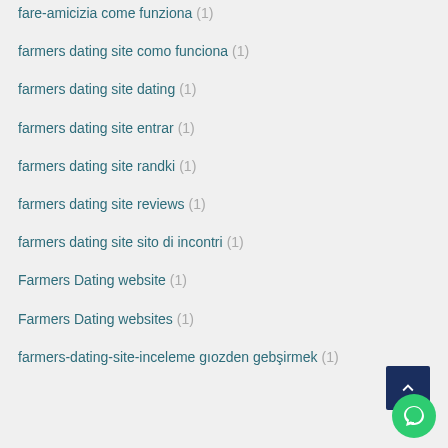fare-amicizia come funziona (1)
farmers dating site como funciona (1)
farmers dating site dating (1)
farmers dating site entrar (1)
farmers dating site randki (1)
farmers dating site reviews (1)
farmers dating site sito di incontri (1)
Farmers Dating website (1)
Farmers Dating websites (1)
farmers-dating-site-inceleme gözden geçirmek (1)